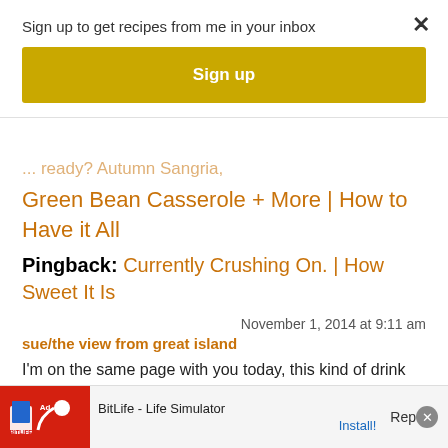Sign up to get recipes from me in your inbox
Sign up
Pingback: ... Green Bean Casserole + More | How to Have it All
Pingback: Currently Crushing On. | How Sweet It Is
November 1, 2014 at 9:11 am
sue/the view from great island
I'm on the same page with you today, this kind of drink really sets the stage for the coming season, love the colors!
[Figure (screenshot): BitLife - Life Simulator advertisement banner at bottom of page]